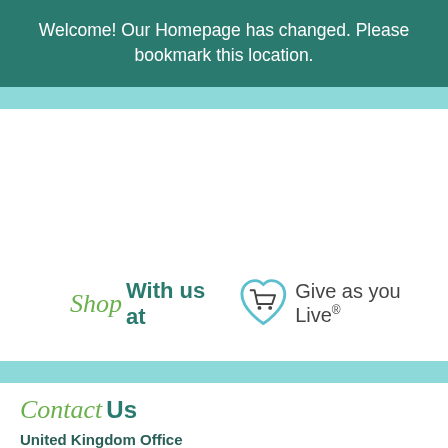Welcome! Our Homepage has changed. Please bookmark this location.
[Figure (logo): Give as you Live logo with shopping cart inside a heart shape]
Shop With us at Give as you Live®
Contact Us
United Kingdom Office
Bright Horizons Foundation for Children
2 Crown Court
Rushden